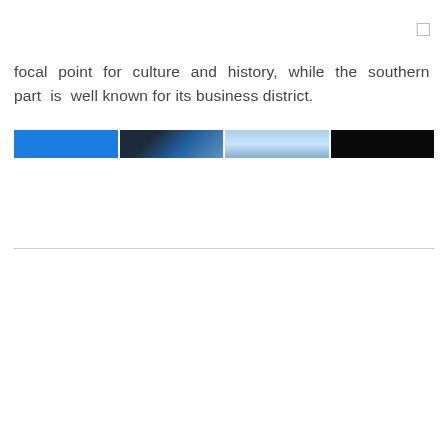focal point for culture and history, while the southern part is well known for its business district.
[Figure (photo): A horizontal strip of four photographic images showing blue sky/scenery segments with varying tones from bright blue to dark/black.]
□